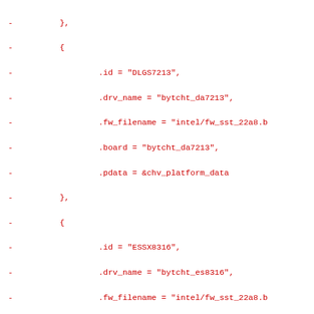Code diff showing removal of hardware device table entries including DLGS7213, ESSX8316, 10EC5640, and 10EC3276 device structs with fields id, drv_name, fw_filename, board, machine_quirk, pdata from a Linux kernel audio driver source file.